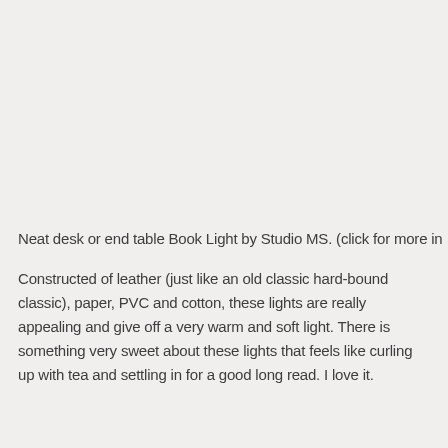Neat desk or end table Book Light by Studio MS. (click for more in
Constructed of leather (just like an old classic hard-bound classic), paper, PVC and cotton, these lights are really appealing and give off a very warm and soft light. There is something very sweet about these lights that feels like curling up with tea and settling in for a good long read. I love it.